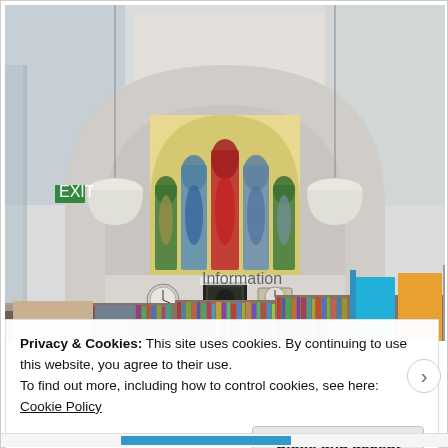[Figure (photo): Interior of a converted church library. A large stone arch with colorful stained glass windows (5 panels depicting religious figures) is visible. Two pendant lamps hang from the ceiling on either side. Below the arch are bookshelves filled with books. Two clocks and a framed painting are mounted on the wall beneath the windows. Drop ceiling panels are visible at top.]
Privacy & Cookies: This site uses cookies. By continuing to use this website, you agree to their use.
To find out more, including how to control cookies, see here: Cookie Policy
Close and accept